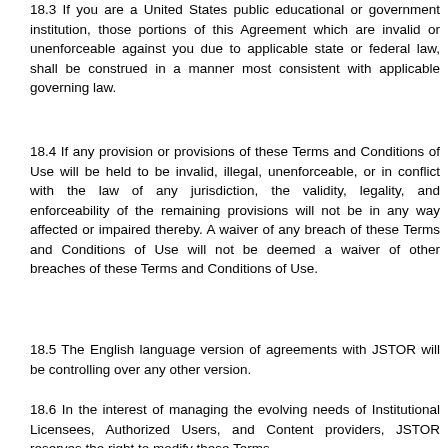18.3  If you are a United States public educational or government institution, those portions of this Agreement which are invalid or unenforceable against you due to applicable state or federal law, shall be construed in a manner most consistent with applicable governing law.
18.4  If any provision or provisions of these Terms and Conditions of Use will be held to be invalid, illegal, unenforceable, or in conflict with the law of any jurisdiction, the validity, legality, and enforceability of the remaining provisions will not be in any way affected or impaired thereby. A waiver of any breach of these Terms and Conditions of Use will not be deemed a waiver of other breaches of these Terms and Conditions of Use.
18.5  The English language version of agreements with JSTOR will be controlling over any other version.
18.6  In the interest of managing the evolving needs of Institutional Licensees, Authorized Users, and Content providers, JSTOR reserves the right to modify these Terms